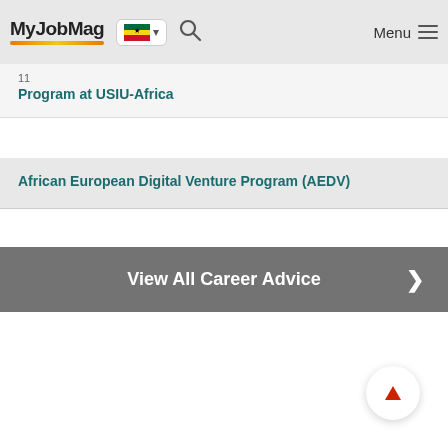MyJobMag — Ghana flag — Search — Menu
Program at USIU-Africa
African European Digital Venture Program (AEDV)
View All Career Advice